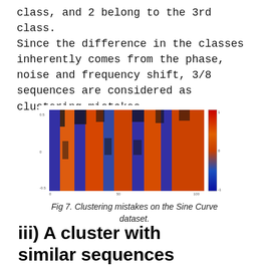class, and 2 belong to the 3rd class. Since the difference in the classes inherently comes from the phase, noise and frequency shift, 3/8 sequences are considered as clustering mistakes.
[Figure (other): Heatmap visualization of clustering mistakes on the Sine Curve dataset, showing orange, blue, and black color patterns in a matrix-like grid with a color scale bar on the right.]
Fig 7. Clustering mistakes on the Sine Curve dataset.
iii) A cluster with similar sequences
This is the case where the feature values in the sequences have a different range. In real-world data, this is a very common scenario, e.g.